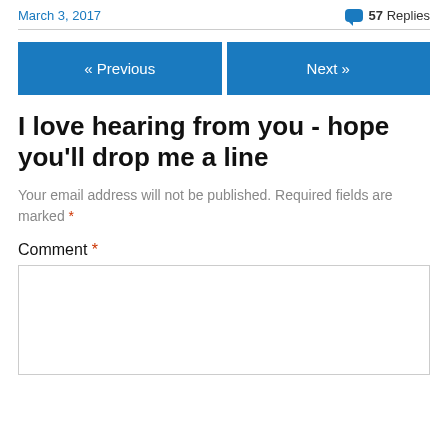March 3, 2017
💬 57 Replies
« Previous
Next »
I love hearing from you - hope you'll drop me a line
Your email address will not be published. Required fields are marked *
Comment *